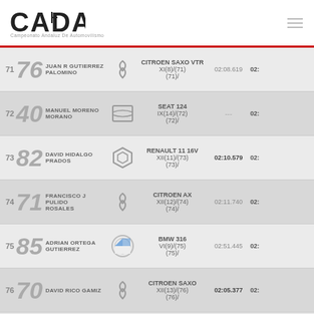CADA
| Pos | No | Driver | Brand | Car/Class | Time1 | Time2 |
| --- | --- | --- | --- | --- | --- | --- |
| 71 | 76 | JUAN R GUTIERREZ / PALOMINO | Citroen | CITROEN SAXO VTR XI(8)/(71) (71)/ | 02:08.619 | 02: |
| 72 | 40 | MANUEL MORENO / MORANO | SEAT | SEAT 124 IX(14)/(72) (72)/ | --- | 02: |
| 73 | 82 | DAVID HIDALGO / PRADOS | Renault | RENAULT 11 16V XII(11)/(73) (73)/ | 02:10.579 | 02: |
| 74 | 71 | FRANCISCO J PULIDO / ROSALES | Citroen | CITROEN AX XII(12)/(74) (74)/ | 02:11.740 | 02: |
| 75 | 85 | ADRIAN ORTEGA / GUTIERREZ | BMW | BMW 316 VI(9)/(75) (75)/ | 02:51.445 | 02: |
| 76 | 70 | DAVID RICO GAMIZ | Citroen | CITROEN SAXO XII(13)/(76) (76)/ | 02:05.377 | 02: |